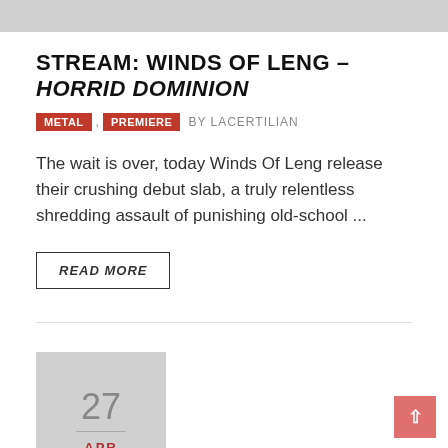[Figure (photo): Gray top banner image, partially visible]
STREAM: WINDS OF LENG – HORRID DOMINION
METAL  PREMIERE  BY LACERTILIAN
The wait is over, today Winds Of Leng release their crushing debut slab, a truly relentless shredding assault of punishing old-school ...
READ MORE
27 APR